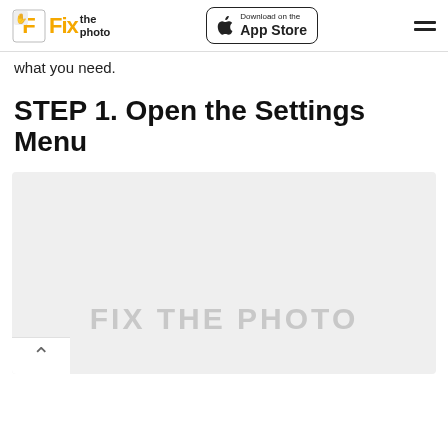Fix the Photo | Download on the App Store
what you need.
STEP 1. Open the Settings Menu
[Figure (screenshot): A screenshot placeholder with light gray background showing 'FIX THE PHOTO' watermark text and a scroll-up arrow button in the bottom-left corner.]